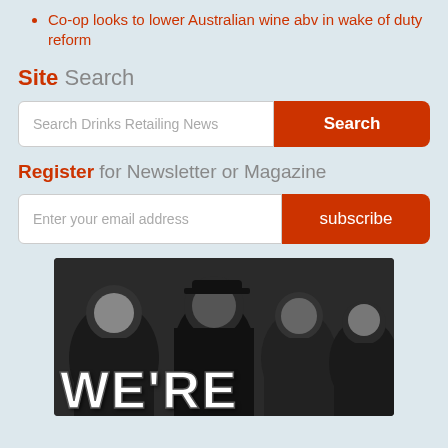Co-op looks to lower Australian wine abv in wake of duty reform
Site Search
[Figure (screenshot): Search bar with red Search button for Drinks Retailing News]
Register for Newsletter or Magazine
[Figure (screenshot): Email input field with red subscribe button]
[Figure (photo): Black and white photo of a crowd of people at an event with large white text overlay reading WE'RE]